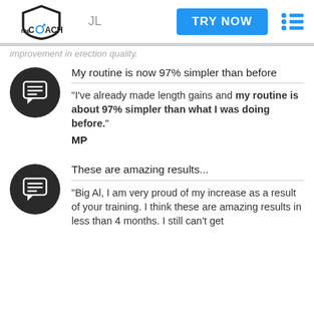meCOACH | JL | TRY NOW
improvement in erection quality.
My routine is now 97% simpler than before
"I've already made length gains and my routine is about 97% simpler than what I was doing before."
MP
These are amazing results...
"Big Al, I am very proud of my increase as a result of your training. I think these are amazing results in less than 4 months. I still can't get